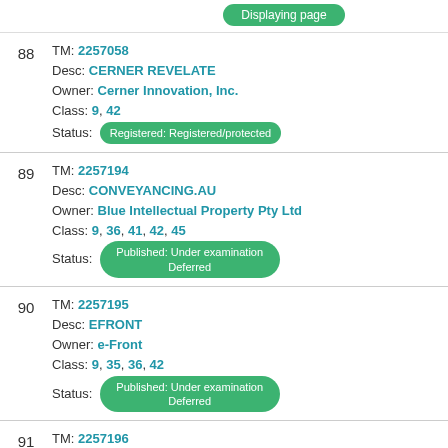88 TM: 2257058 Desc: CERNER REVELATE Owner: Cerner Innovation, Inc. Class: 9, 42 Status: Registered: Registered/protected
89 TM: 2257194 Desc: CONVEYANCING.AU Owner: Blue Intellectual Property Pty Ltd Class: 9, 36, 41, 42, 45 Status: Published: Under examination Deferred
90 TM: 2257195 Desc: EFRONT Owner: e-Front Class: 9, 35, 36, 42 Status: Published: Under examination Deferred
91 TM: 2257196 Desc: A Owner: Australian Professional Leagues Company Pty Ltd as trustee for the Australian Professional Leagues Trust Class: 9, 16, 20, 25, 28, 38, 41 Status: Published: Under examination